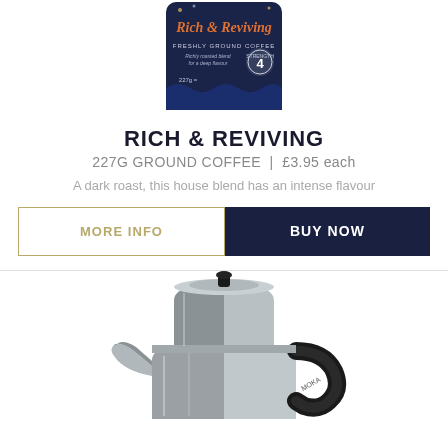[Figure (photo): Rich & Reviving freshly ground coffee bag, navy blue packaging, 227g, strength 4]
RICH & REVIVING
227G GROUND COFFEE | £3.95 each
A dark roast, this house blend has an intense flavour
MORE INFO
BUY NOW
[Figure (photo): Moka pot / stovetop espresso maker, silver/chrome with black handle]